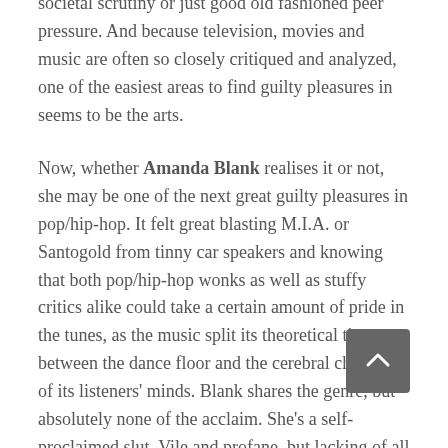societal scrutiny or just good old fashioned peer pressure. And because television, movies and music are often so closely critiqued and analyzed, one of the easiest areas to find guilty pleasures in seems to be the arts.
Now, whether Amanda Blank realises it or not, she may be one of the next great guilty pleasures in pop/hip-hop. It felt great blasting M.I.A. or Santogold from tinny car speakers and knowing that both pop/hip-hop wonks as well as stuffy critics alike could take a certain amount of pride in the tunes, as the music split its theoretical time between the dance floor and the cerebral chambers of its listeners' minds. Blank shares the genre, but absolutely none of the acclaim. She's a self-proclaimed slut. Vile and profane, but lacking of all the mystery that